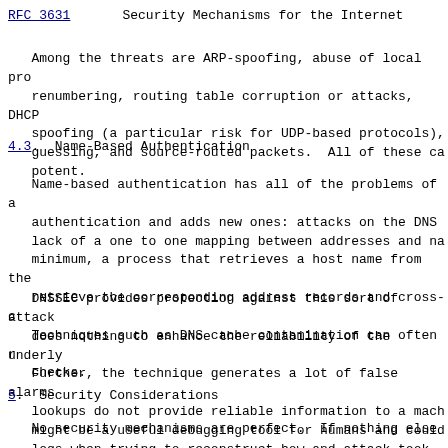RFC 3631    Security Mechanisms for the Internet
Among the threats are ARP-spoofing, abuse of local pro renumbering, routing table corruption or attacks, DHCP spoofing (a particular risk for UDP-based protocols), guessing, and source-routed packets.  All of these ca potent.
4.3.  Name-Based Authentication
Name-based authentication has all of the problems of a authentication and adds new ones: attacks on the DNS lack of a one to one mapping between addresses and na minimum, a process that retrieves a host name from the retrieve the corresponding address records and cross-c Techniques such as DNS cache contamination can often checks.
DNSSEC provides protection against this sort of attack does nothing to enhance the reliability of the underly Further, the technique generates a lot of false alarms lookups do not provide reliable information to a mach might be a useful debugging tool for humans and could logs when trying to reconstruct how and attack took p
5.  Security Considerations
No security mechanisms are perfect.  If nothing else